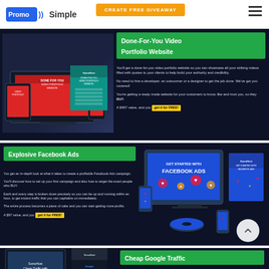PromoSimple | CREATE FREE GIVEAWAY
Done-For-You Video Portfolio Website
You'll get a done-for-you video portfolio website so you can showcase all your striking videos filled with quotes to your clients to help build your authority and credibility.

No need to hire a developer, an outsourcer or a designer to get the job done. We've got you covered!

You're getting a ready made website for your customers to know, like and trust you, so they BUY.

A $497 value, and you get it for FREE!
[Figure (photo): Product mockup bundle for Done-For-You Video Portfolio Website — laptop, tablet, phone, and box]
Explosive Facebook Ads
You get an in-depth look at what it takes to create a profitable Facebook Ads campaign.

You'll discover how to set up your first campaign and also how to target the exact people who BUY.

Each and every step is broken down precisely so you can be up and running within an hour, to get instant traffic that you can capitalize on immediately.

The entire process becomes a piece of cake and you can start getting more profits.

A $97 value, and you get it for FREE!
[Figure (photo): Product mockup bundle for Get Started with Facebook Ads — desktop monitor, box, phone, and disc]
Cheap Google Traffic
Get to know how Google Ads works.

You'll see behind-the-scenes and the ins and outs to quickly and easily discover profitable keywords for next to nothing.
[Figure (photo): Product mockup bundle for Cheap Traffic with Google Ads]